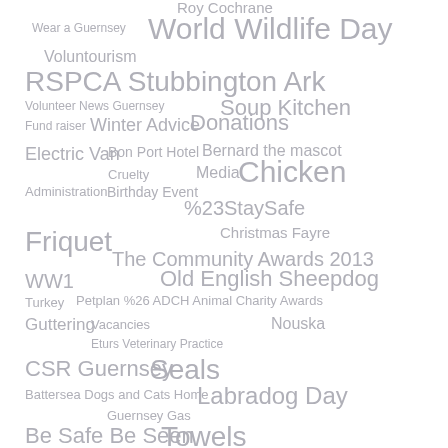[Figure (infographic): Tag cloud / word cloud showing various topic tags in different sizes, all rendered in grey color. Tags include: Roy Cochrane, Wear a Guernsey, World Wildlife Day, Voluntourism, RSPCA Stubbington Ark, Volunteer News Guernsey, Soup Kitchen, Fund raiser, Winter Advice, Donations, Electric Van, Bon Port Hotel, Bernard the mascot, Cruelty, Media, Chicken, Administration, Birthday Event, %23StaySafe, Friquet, Christmas Fayre, The Community Awards 2013, WW1, Old English Sheepdog, Turkey, Petplan %26 ADCH Animal Charity Awards, Guttering, Vacancies, Nouska, Eturs Veterinary Practice, CSR Guernsey, Seals, Battersea Dogs and Cats Home, Labradog Day, Guernsey Gas, Be Safe Be Seen, Towels]